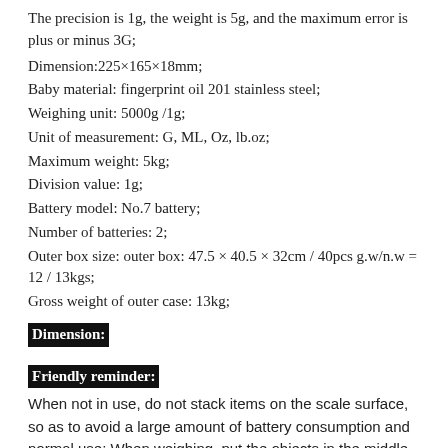The precision is 1g, the weight is 5g, and the maximum error is plus or minus 3G;
Dimension:225×165×18mm;
Baby material: fingerprint oil 201 stainless steel;
Weighing unit: 5000g /1g;
Unit of measurement: G, ML, Oz, lb.oz;
Maximum weight: 5kg;
Division value: 1g;
Battery model: No.7 battery;
Number of batteries: 2;
Outer box size: outer box: 47.5 × 40.5 × 32cm / 40pcs g.w/n.w = 12 / 13kgs;
Gross weight of outer case: 13kg;
Dimension:
Friendly reminder:
When not in use, do not stack items on the scale surface, so as to avoid a large amount of battery consumption and normal use; When weighing, put the objects in the middle as far as possible